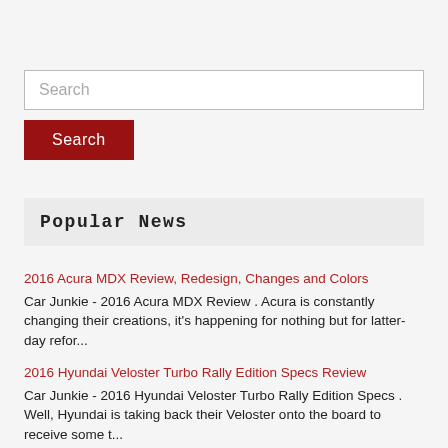Search
Search
Popular News
2016 Acura MDX Review, Redesign, Changes and Colors
Car Junkie -  2016 Acura MDX Review . Acura is constantly changing their creations, it's happening for nothing but for latter-day refor...
2016 Hyundai Veloster Turbo Rally Edition Specs Review
Car Junkie - 2016 Hyundai Veloster Turbo Rally Edition Specs . Well, Hyundai is taking back their Veloster onto the board to receive some t...